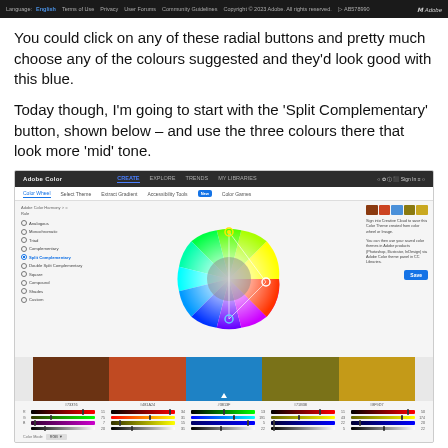Language: English  Terms of Use  Privacy  User Forums  Community Guidelines  Copyright © 2023 Adobe. All rights reserved.  Adobe
You could click on any of these radial buttons and pretty much choose any of the colours suggested and they'd look good with this blue.
Today though, I'm going to start with the 'Split Complementary' button, shown below – and use the three colours there that look more 'mid' tone.
[Figure (screenshot): Screenshot of Adobe Color web application showing the color wheel with Split Complementary mode selected. The color wheel displays a triangle arrangement with yellow-green at top, blue-teal at right, and light blue at bottom. Below the wheel are five color palette swatches: dark brown (#473376 area), rust/terracotta (#481A24 area), blue (#481A3F area), olive/gold (#471B30 area), and dark yellow-gold. Hex codes shown: #73376, #481A24, #3813F, #71B38, #8F9D7. RGB sliders shown at bottom.]